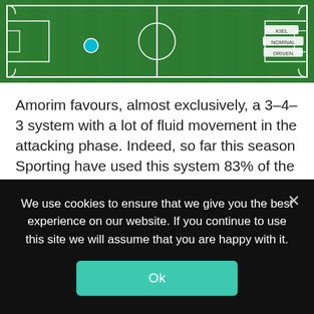[Figure (illustration): A football pitch diagram (top-down view, green field) with a cyan/teal dot near center-left and small label tags in the top-right corner.]
Amorim favours, almost exclusively, a 3-4-3 system with a lot of fluid movement in the attacking phase. Indeed, so far this season Sporting have used this system 83% of the time with the other 17% spent in a 3-4-1-2 variant.
He is a coach who has elements of positional play within his game model with the tendency to create overloads in the half-spaces and build-up through vertical passes that find players in
We use cookies to ensure that we give you the best experience on our website. If you continue to use this site we will assume that you are happy with it.